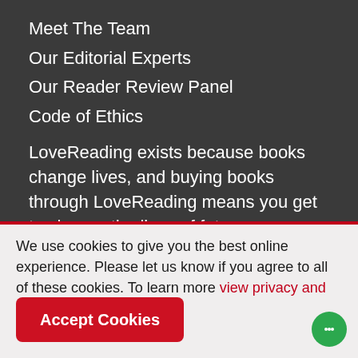Meet The Team
Our Editorial Experts
Our Reader Review Panel
Code of Ethics
LoveReading exists because books change lives, and buying books through LoveReading means you get to change the lives of future
We use cookies to give you the best online experience. Please let us know if you agree to all of these cookies. To learn more view privacy and cookies policy.